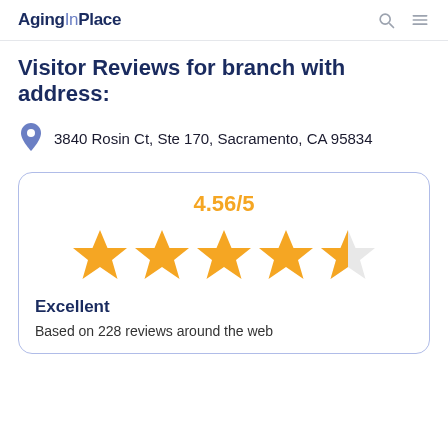AgingInPlace
Visitor Reviews for branch with address:
3840 Rosin Ct, Ste 170, Sacramento, CA 95834
[Figure (infographic): Rating card showing 4.56/5 stars (4 full stars and 1 half star in orange), label 'Excellent', and 'Based on 228 reviews around the web']